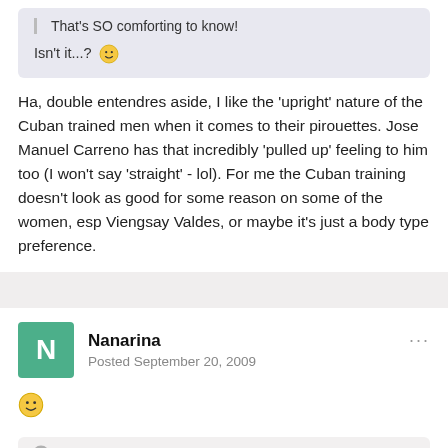That's SO comforting to know!
Isn't it...? 🙂
Ha, double entendres aside, I like the 'upright' nature of the Cuban trained men when it comes to their pirouettes. Jose Manuel Carreno has that incredibly 'pulled up' feeling to him too (I won't say 'straight' - lol). For me the Cuban training doesn't look as good for some reason on some of the women, esp Viengsay Valdes, or maybe it's just a body type preference.
Nanarina
Posted September 20, 2009
🙂
kdubzz said: